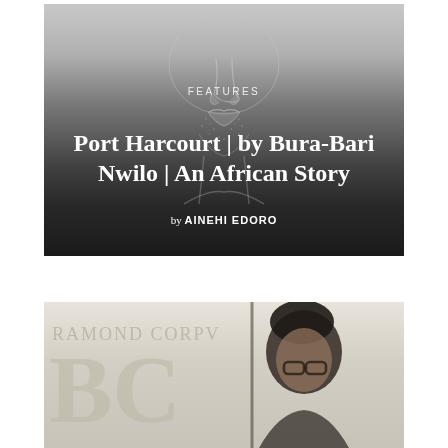[Figure (photo): Black and white sketch/photo of a man's face (lower portion, showing nose, lips, chin, and neck), with dark gradient background. Overlaid text reads 'FEATURES' and the article title.]
Port Harcourt | by Bura-Bari Nwilo | An African Story
by AINEHI EDORO
[Figure (photo): Photo of a man with dark hair and glasses standing in front of a sign or banner reading 'RAMOND CORPVS' with large letters 'BC' visible.]